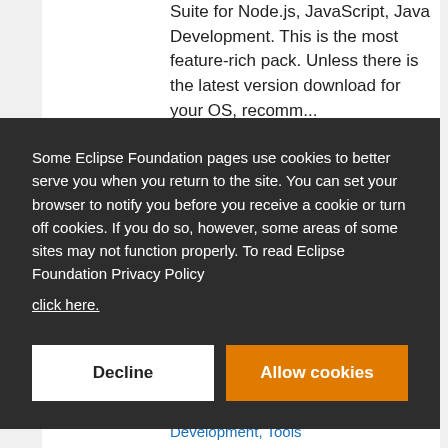Suite for Node.js, JavaScript, Java Development. This is the most feature-rich pack. Unless there is the latest version download for your OS, recomm...
Some Eclipse Foundation pages use cookies to better serve you when you return to the site. You can set your browser to notify you before you receive a cookie or turn off cookies. If you do so, however, some areas of some sites may not function properly. To read Eclipse Foundation Privacy Policy
click here.
Decline
Allow cookies
Development, Tools